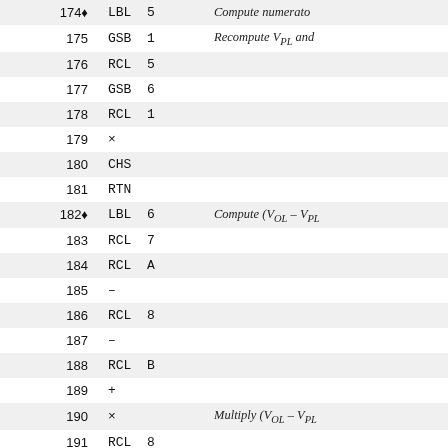| Line | Instruction | Comment |
| --- | --- | --- |
| 174♦ | LBL  5 | Compute numerato |
| 175 | GSB  1 | Recompute V_PL and |
| 176 | RCL  5 |  |
| 177 | GSB  6 |  |
| 178 | RCL  1 |  |
| 179 | × |  |
| 180 | CHS |  |
| 181 | RTN |  |
| 182♦ | LBL  6 | Compute (V_OL − V_PL |
| 183 | RCL  7 |  |
| 184 | RCL  A |  |
| 185 | − |  |
| 186 | RCL  8 |  |
| 187 | − |  |
| 188 | RCL  B |  |
| 189 | + |  |
| 190 | × | Multiply (V_OL − V_PL |
| 191 | RCL  8 |  |
| 192 | RCL  A |  |